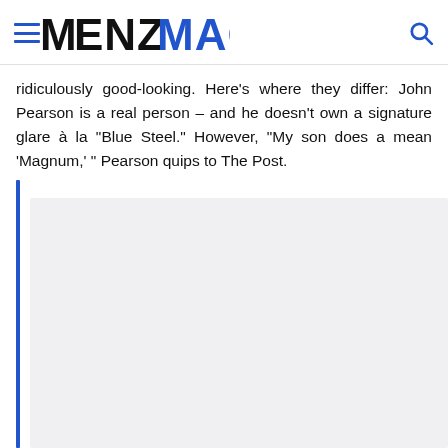MENZMAG
ridiculously good-looking. Here's where they differ: John Pearson is a real person – and he doesn't own a signature glare à la "Blue Steel." However, "My son does a mean 'Magnum,' " Pearson quips to The Post.
[Figure (other): Blockquote section with blue vertical bar on the left and grey background content area]